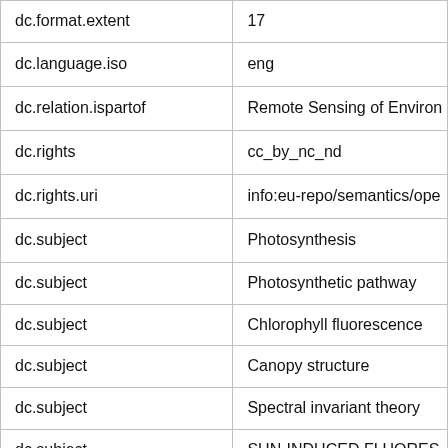| Field | Value |
| --- | --- |
| dc.format.extent | 17 |
| dc.language.iso | eng |
| dc.relation.ispartof | Remote Sensing of Environ... |
| dc.rights | cc_by_nc_nd |
| dc.rights.uri | info:eu-repo/semantics/ope... |
| dc.subject | Photosynthesis |
| dc.subject | Photosynthetic pathway |
| dc.subject | Chlorophyll fluorescence |
| dc.subject | Canopy structure |
| dc.subject | Spectral invariant theory |
| dc.subject | SUN-INDUCED FLUORES... |
| dc.subject | GROSS PRIMARY PROP... |